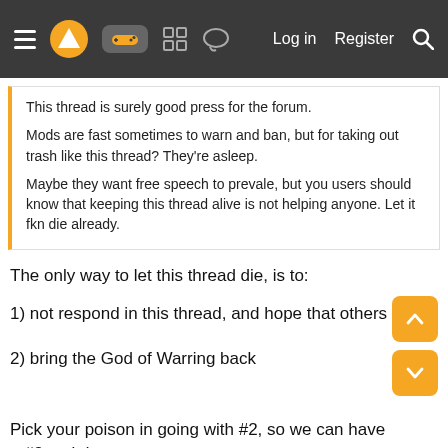≡ [logo] [controller icon] [grid icon] [chat icon]    Log in   Register   [search]
This thread is surely good press for the forum.

Mods are fast sometimes to warn and ban, but for taking out trash like this thread? They're asleep.

Maybe they want free speech to prevale, but you users should know that keeping this thread alive is not helping anyone. Let it fkn die already.
The only way to let this thread die, is to:
1) not respond in this thread, and hope that others don't
2) bring the God of Warring back
Pick your poison in going with #2, so we can have a #3 meltdown.